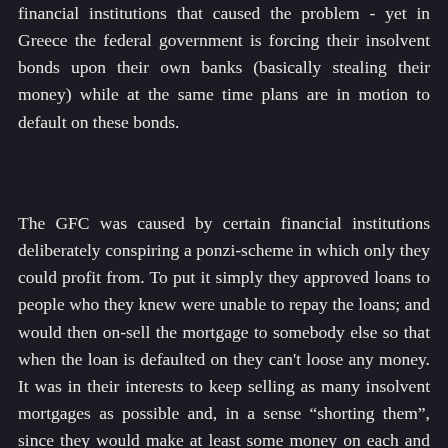financial institutions that caused the problem - yet in Greece the federal government is forcing their insolvent bonds upon their own banks (basically stealing their money) while at the same time plans are in motion to default on these bonds.
The GFC was caused by certain financial institutions deliberately conspiring a ponzi-scheme in which only they could profit from. To put it simply they approved loans to people who they knew were unable to repay the loans; and would then on-sell the mortgage to somebody else so that when the loan is defaulted on they can't loose any money. It was in their interests to keep selling as many insolvent mortgages as possible and, in a sense “shorting them”, since they would make at least some money on each and every one, even if the speculators who are sold the loans